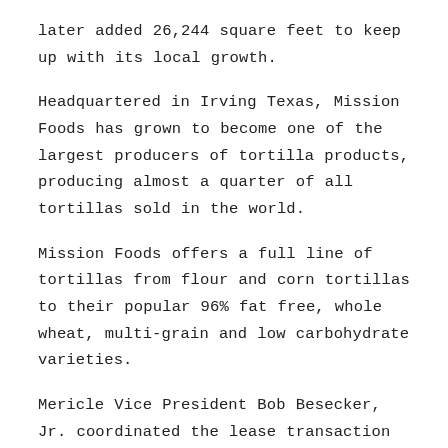later added 26,244 square feet to keep up with its local growth.
Headquartered in Irving Texas, Mission Foods has grown to become one of the largest producers of tortilla products, producing almost a quarter of all tortillas sold in the world.
Mission Foods offers a full line of tortillas from flour and corn tortillas to their popular 96% fat free, whole wheat, multi-grain and low carbohydrate varieties.
Mericle Vice President Bob Besecker, Jr. coordinated the lease transaction along with commercial real estate brokers Jay Rigelsky and Brian Kelly of Corporate Real Estate Advisors in Dallas, Texas. Besecker said the Mericle space at 5-11 Elmwood Road really fills a need for